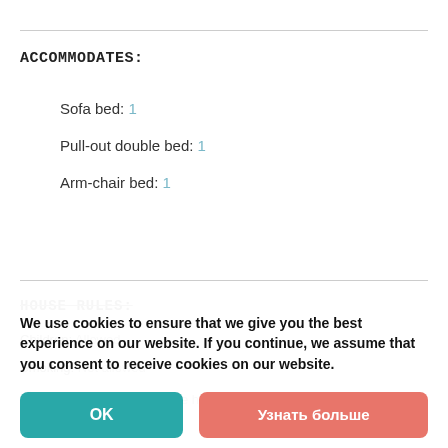ACCOMMODATES:
Sofa bed: 1
Pull-out double bed: 1
Arm-chair bed: 1
HOUSE RULES:
Children: Allowed
Smoking: Not allowed
Disabled people: Ask the host
We use cookies to ensure that we give you the best experience on our website. If you continue, we assume that you consent to receive cookies on our website.